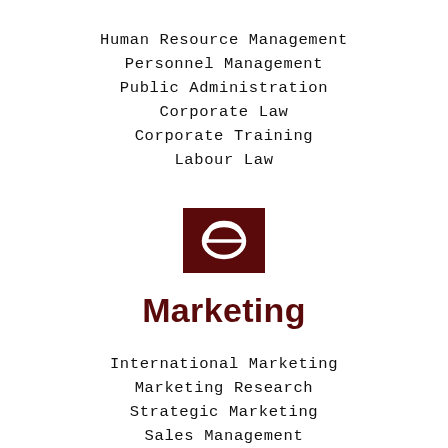Human Resource Management
Personnel Management
Public Administration
Corporate Law
Corporate Training
Labour Law
[Figure (logo): Dark red square with a white stylized 'e' logo (Internet Explorer-style icon)]
Marketing
International Marketing
Marketing Research
Strategic Marketing
Sales Management